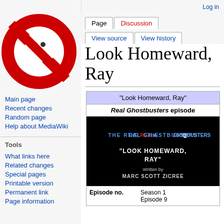Log in
[Figure (logo): Ghostbusters wiki logo — red circle with ghost and slash]
Page | Discussion | View source | View history | Search G
Look Homeward, Ray
|  |  |
| --- | --- |
| "Look Homeward, Ray" |  |
| Real Ghostbusters episode |  |
| [title card image] |  |
| Episode no. | Season 1
Episode 9 |
Main page
Recent changes
Random page
Help about MediaWiki
Tools
What links here
Related changes
Special pages
Printable version
Permanent link
Page information